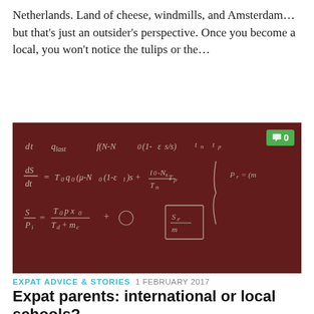Netherlands. Land of cheese, windmills, and Amsterdam… but that's just an outsider's perspective. Once you become a local, you won't notice the tulips or the…
[Figure (photo): A dark reddish-brown chalkboard with mathematical equations written in white chalk. Equations include differential equations and fraction expressions. A green comment badge showing '0' is visible in the top right corner.]
EXPAT ADVICE & STORIES  1 FEBRUARY 2017
Expat parents: international or local schools?
A recent Expat Insider survey showed that 32% of expats...